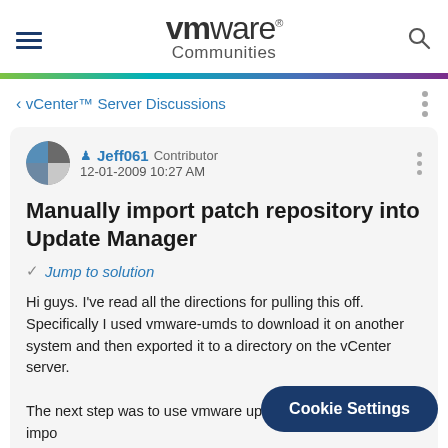vmware Communities
‹ vCenter™ Server Discussions
Manually import patch repository into Update Manager
Jump to solution
Hi guys. I've read all the directions for pulling this off. Specifically I used vmware-umds to download it on another system and then exported it to a directory on the vCenter server.
The next step was to use vmwa... updatedownloadcli.exe to impo...
Cookie Settings